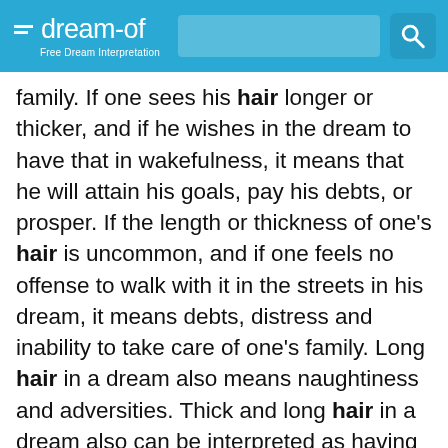dream-of — Free Dream Interpretation
family. If one sees his hair longer or thicker, and if he wishes in the dream to have that in wakefulness, it means that he will attain his goals, pay his debts, or prosper. If the length or thickness of one’s hair is uncommon, and if one feels no offense to walk with it in the streets in his dream, it means debts, distress and inability to take care of one’s family. Long hair in a dream also means naughtiness and adversities. Thick and long hair in a dream also can be interpreted as having many children, or it could represent fear of wrongdoing, or thinking about an important person, or it could represent common daily concerns